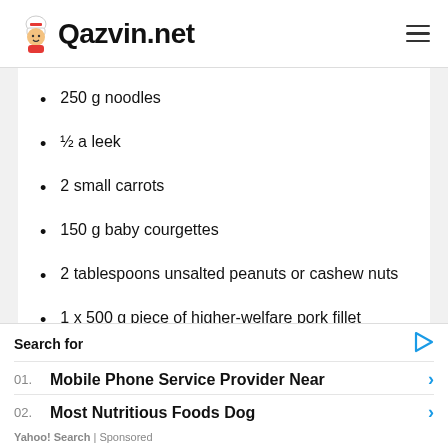Qazvin.net
250 g noodles
½ a leek
2 small carrots
150 g baby courgettes
2 tablespoons unsalted peanuts or cashew nuts
1 x 500 g piece of higher-welfare pork fillet
Search for
01. Mobile Phone Service Provider Near
02. Most Nutritious Foods Dog
Yahoo! Search | Sponsored